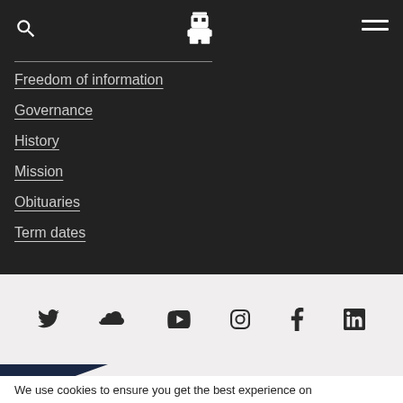Navigation header with search icon, owl logo, and menu icon
Freedom of information
Governance
History
Mission
Obituaries
Term dates
[Figure (infographic): Social media icons row: Twitter, SoundCloud, YouTube, Instagram, Facebook, LinkedIn]
We use cookies to ensure you get the best experience on